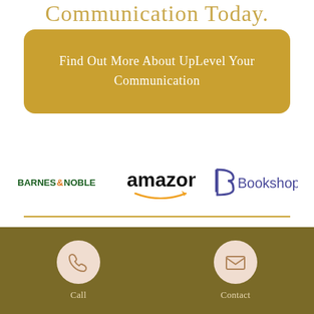Communication Today.
Find Out More About UpLevel Your Communication
[Figure (logo): Barnes & Noble logo]
[Figure (logo): Amazon logo with smile arrow]
[Figure (logo): Bookshop logo with stylized B]
Call   Contact